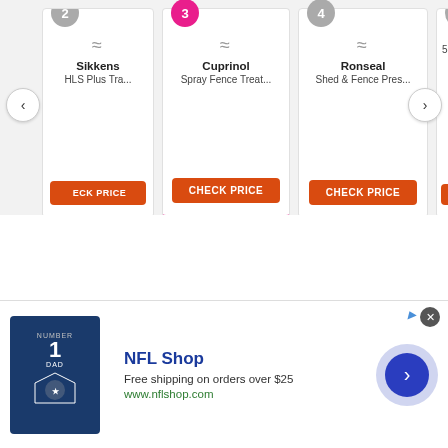[Figure (screenshot): Product carousel showing 4 fence treatment products: Sikkens HLS Plus Tra..., Cuprinol Spray Fence Treat... (item 3, active/selected), Ronseal Shed & Fence Pres... (item 4), and Cuprinol 5 Year D...back (item 5, partially visible). Each card has a CHECK PRICE orange button. Navigation arrows on left and right.]
[Figure (screenshot): Advertisement banner for NFL Shop. Shows a Dallas Cowboys jersey image, text 'NFL Shop', 'Free shipping on orders over $25', 'www.nflshop.com', a close button (X), an Ad badge, and a blue arrow button.]